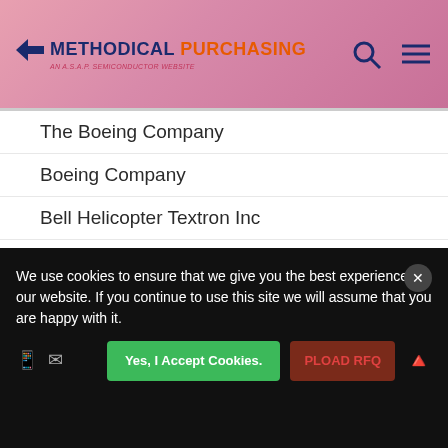Methodical Purchasing — AN A.S.A.P. SEMICONDUCTOR WEBSITE
The Boeing Company
Boeing Company
Bell Helicopter Textron Inc
Pratt And Whitney
Kapco Valtec
Amphenol Corporation
Bombardier Aerospace Corporation
VIEW MORE
We use cookies to ensure that we give you the best experience on our website. If you continue to use this site we will assume that you are happy with it.